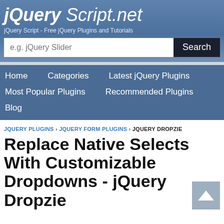jQuery Script.net
jQuery Script - Free jQuery Plugins and Tutorials
e.g. jQuery Slider  Search
Home
Categories
Latest jQuery Plugins
Most Popular Plugins
Recommended Plugins
Blog
JQUERY PLUGINS › JQUERY FORM PLUGINS › JQUERY DROPZIE
Replace Native Selects With Customizable Dropdowns - jQuery Dropzie